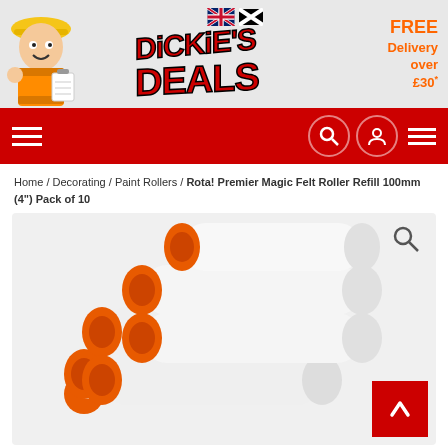[Figure (logo): Dickie's Deals logo with mascot construction worker, UK and Cornwall flags, red bold text 'DICKIE'S DEALS', and FREE Delivery over £30* text in orange]
[Figure (other): Red navigation bar with hamburger menu on left, search icon, user icon, and hamburger menu on right]
Home / Decorating / Paint Rollers / Rota! Premier Magic Felt Roller Refill 100mm (4") Pack of 10
[Figure (photo): Product photo of Rota! Premier Magic Felt Roller Refill 100mm pack of 10 - white felt paint rollers stacked in a pyramid with orange ends]